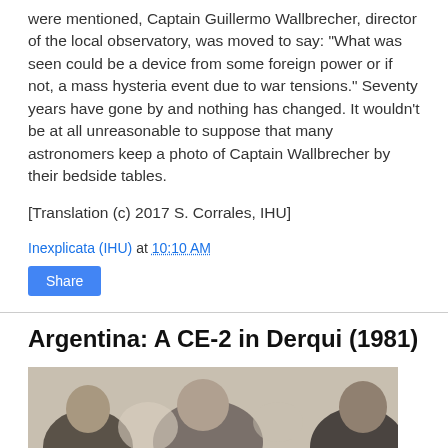were mentioned, Captain Guillermo Wallbrecher, director of the local observatory, was moved to say: "What was seen could be a device from some foreign power or if not, a mass hysteria event due to war tensions." Seventy years have gone by and nothing has changed. It wouldn't be at all unreasonable to suppose that many astronomers keep a photo of Captain Wallbrecher by their bedside tables.
[Translation (c) 2017 S. Corrales, IHU]
Inexplicata (IHU) at 10:10 AM
Share
Argentina: A CE-2 in Derqui (1981)
[Figure (photo): Black and white photograph showing people, appears to be an outdoor scene with figures crouching or sitting.]